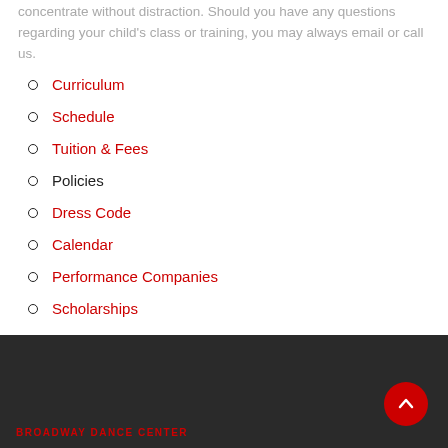concentrate without distraction. Should you have any questions regarding your child's class or training, you may always email or call us.
Curriculum
Schedule
Tuition & Fees
Policies
Dress Code
Calendar
Performance Companies
Scholarships
Account Log in
BROADWAY DANCE CENTER